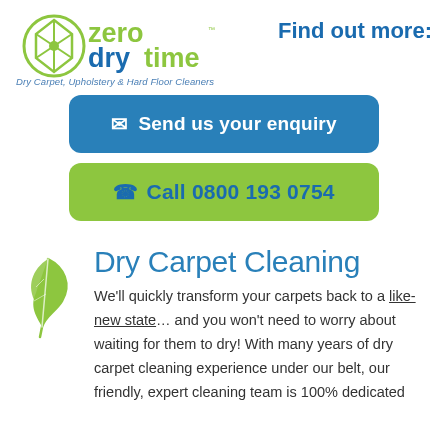[Figure (logo): Zero Dry Time logo with green and blue text and a green circular snowflake/diamond icon with TM mark]
Dry Carpet, Upholstery & Hard Floor Cleaners
Find out more:
✉ Send us your enquiry
✆ Call 0800 193 0754
[Figure (illustration): Green feather/leaf icon]
Dry Carpet Cleaning
We'll quickly transform your carpets back to a like-new state… and you won't need to worry about waiting for them to dry! With many years of dry carpet cleaning experience under our belt, our friendly, expert cleaning team is 100% dedicated